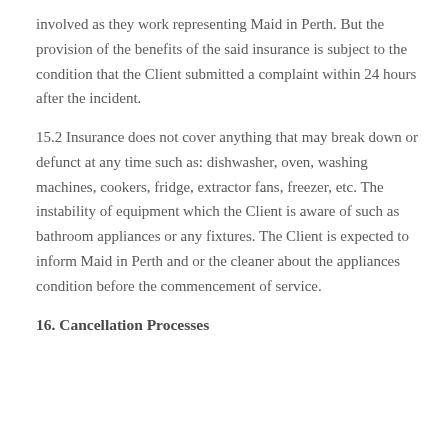involved as they work representing Maid in Perth. But the provision of the benefits of the said insurance is subject to the condition that the Client submitted a complaint within 24 hours after the incident.
15.2 Insurance does not cover anything that may break down or defunct at any time such as: dishwasher, oven, washing machines, cookers, fridge, extractor fans, freezer, etc. The instability of equipment which the Client is aware of such as bathroom appliances or any fixtures. The Client is expected to inform Maid in Perth and or the cleaner about the appliances condition before the commencement of service.
16. Cancellation Processes